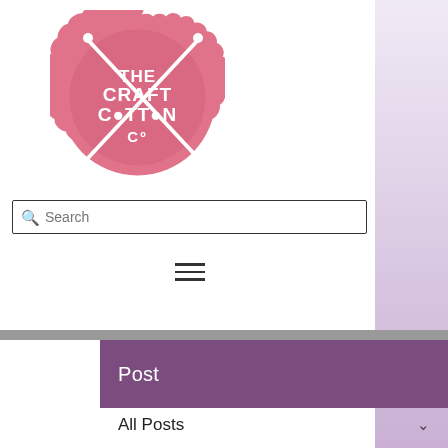[Figure (logo): The Craft Cotton Co circular pink logo with crossed knitting needles]
Search
[Figure (other): Hamburger menu icon (three horizontal lines)]
Post
All Posts
Craft Cotton Co  Sep 14, 2017 · 2 min
Sew your own Cable Tidy